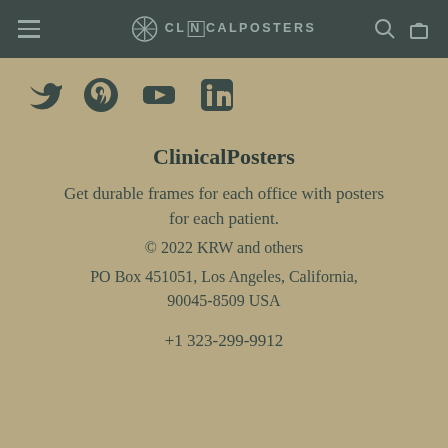CL[N]CALPOSTERS
[Figure (logo): Social media icons: Twitter, Pinterest, YouTube, LinkedIn]
ClinicalPosters
Get durable frames for each office with posters for each patient.
© 2022 KRW and others
PO Box 451051, Los Angeles, California, 90045-8509 USA
+1 323-299-9912